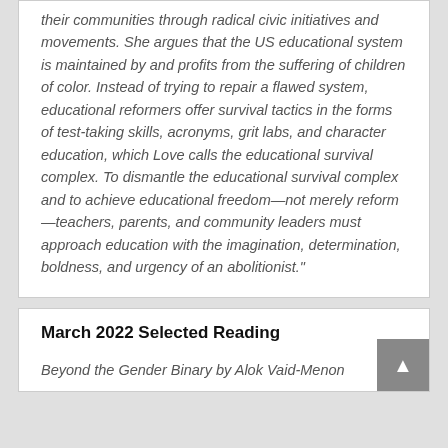their communities through radical civic initiatives and movements. She argues that the US educational system is maintained by and profits from the suffering of children of color. Instead of trying to repair a flawed system, educational reformers offer survival tactics in the forms of test-taking skills, acronyms, grit labs, and character education, which Love calls the educational survival complex. To dismantle the educational survival complex and to achieve educational freedom—not merely reform—teachers, parents, and community leaders must approach education with the imagination, determination, boldness, and urgency of an abolitionist."
March 2022 Selected Reading
Beyond the Gender Binary by Alok Vaid-Menon